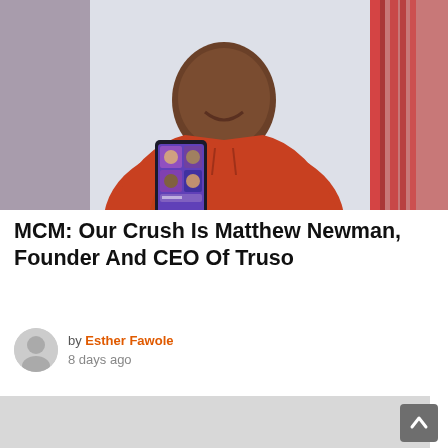[Figure (photo): A smiling Black man wearing an orange hoodie, holding up a smartphone displaying a purple app interface with profile photos. Background has abstract blurred pink/purple and grey streaks.]
MCM: Our Crush Is Matthew Newman, Founder And CEO Of Truso
by Esther Fawole
8 days ago
[Figure (photo): Partially visible image at the bottom of the page, grey/light colored background.]